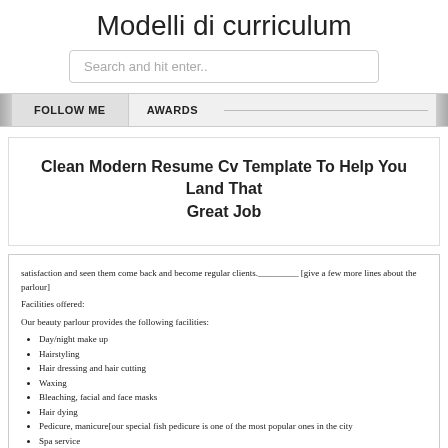Modelli di curriculum
Search and hit enter..
FOLLOW ME   AWARDS
Clean Modern Resume Cv Template To Help You Land That Great Job
satisfaction and seen them come back and become regular clients._________ [give a few more lines about the parlour]
Facilities offered:
Our beauty parlour provides the following facilities:
Day/night make up
Hairstyling
Hair dressing and hair cutting
Waxing
Bleaching, facial and face masks
Hair dying
Pedicure, manicure[our special fish pedicure is one of the most popular ones in the city
Spa service
Beauty Parlour Resume Format Resume Format Resume Format